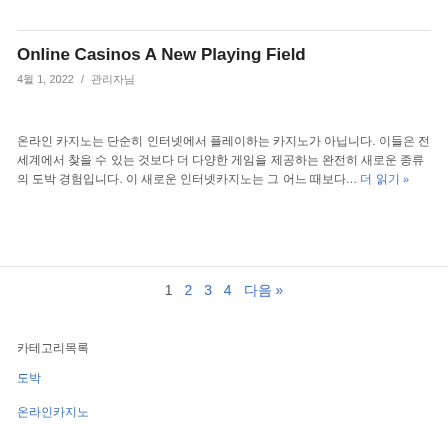Online Casinos A New Playing Field
4월 1, 2022 / 관리자님
온라인 카지노는 단순히 인터넷에서 플레이하는 카지노가 아닙니다. 이들은 전 세계에서 찾을 수 있는 것보다 더 다양한 게임을 제공하는 완전히 새로운 종류의 도박 경험입니다. 이 새로운 인터넷카지노는 그 어느 때보다… 더 읽기 »
1  2  3  4  다음 »
카테고리목록
도박
온라인카지노